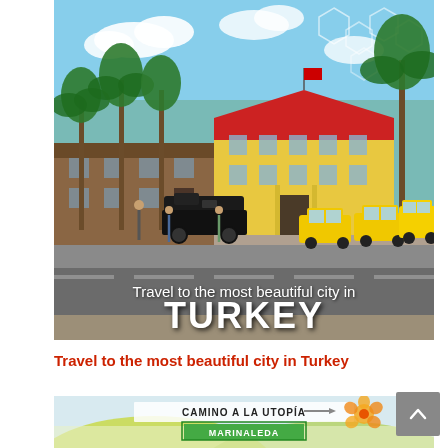[Figure (photo): A street scene in Turkey featuring a yellow colonial-style building with red roof, palm trees, yellow taxis lined up, and a steam locomotive in the foreground. Text overlay reads 'Travel to the most beautiful city in TURKEY'.]
Travel to the most beautiful city in Turkey
[Figure (photo): A colorful mural or sign featuring the text 'CAMINO A LA UTOPIA' and 'MARINALEDA' with decorative flowers, partially visible at bottom of page.]